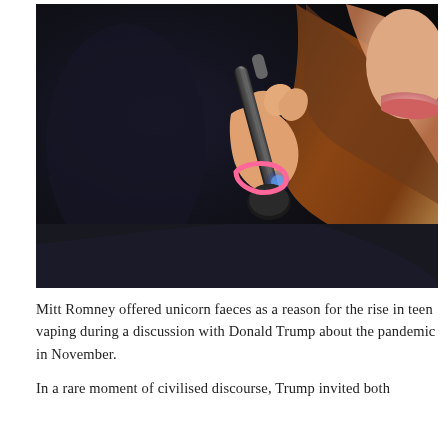[Figure (photo): Close-up photo of a young woman with long brown hair using a vape/e-cigarette device against a dark background. Her hand holds the black cylindrical device up to her lips.]
Mitt Romney offered unicorn faeces as a reason for the rise in teen vaping during a discussion with Donald Trump about the pandemic in November.
In a rare moment of civilised discourse, Trump invited both